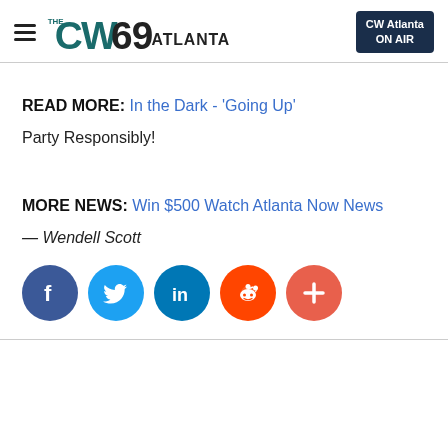The CW69 Atlanta | CW Atlanta ON AIR
READ MORE: In the Dark - 'Going Up'
Party Responsibly!
MORE NEWS: Win $500 Watch Atlanta Now News
— Wendell Scott
[Figure (infographic): Social sharing icons: Facebook, Twitter, LinkedIn, Reddit, and a More (+) button]